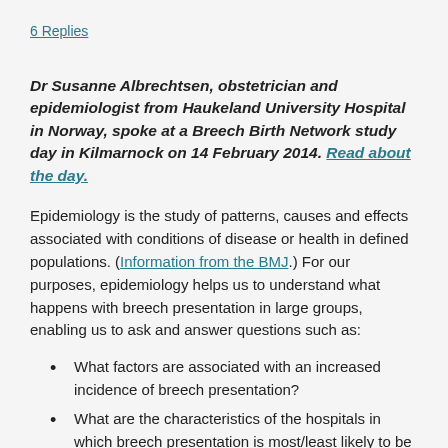6 Replies
Dr Susanne Albrechtsen, obstetrician and epidemiologist from Haukeland University Hospital in Norway, spoke at a Breech Birth Network study day in Kilmarnock on 14 February 2014. Read about the day.
Epidemiology is the study of patterns, causes and effects associated with conditions of disease or health in defined populations. (Information from the BMJ.) For our purposes, epidemiology helps us to understand what happens with breech presentation in large groups, enabling us to ask and answer questions such as:
What factors are associated with an increased incidence of breech presentation?
What are the characteristics of the hospitals in which breech presentation is most/least likely to be delivered